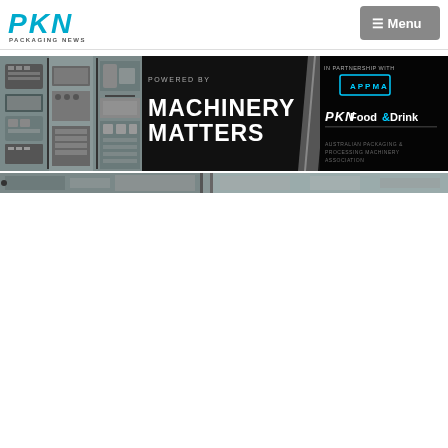[Figure (logo): PKN Packaging News logo - blue stylized letters PKN with 'PACKAGING NEWS' subtitle below]
[Figure (screenshot): Menu navigation button with hamburger icon and 'Menu' text on grey background]
[Figure (infographic): Machinery Matters banner advertisement: left side shows three photos of packaging machinery, center has 'MACHINERY MATTERS' text with a slash divider, right side shows APPMA logo and PKN Food&Drink logos. Text reads 'POWERED BY' above APPMA and 'IN PARTNERSHIP WITH' above PKN Food&Drink.]
[Figure (photo): Partial view of packaging/industrial machinery in a factory setting, grey tones, cropped at bottom of page]